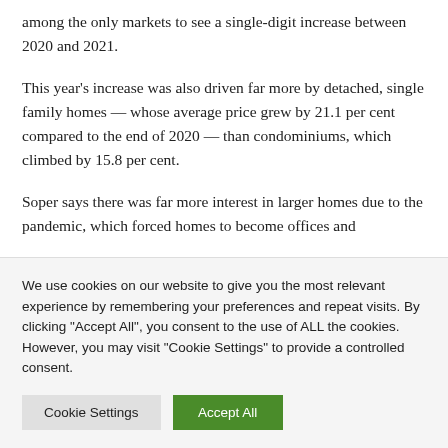among the only markets to see a single-digit increase between 2020 and 2021.
This year's increase was also driven far more by detached, single family homes — whose average price grew by 21.1 per cent compared to the end of 2020 — than condominiums, which climbed by 15.8 per cent.
Soper says there was far more interest in larger homes due to the pandemic, which forced homes to become offices and
We use cookies on our website to give you the most relevant experience by remembering your preferences and repeat visits. By clicking "Accept All", you consent to the use of ALL the cookies. However, you may visit "Cookie Settings" to provide a controlled consent.